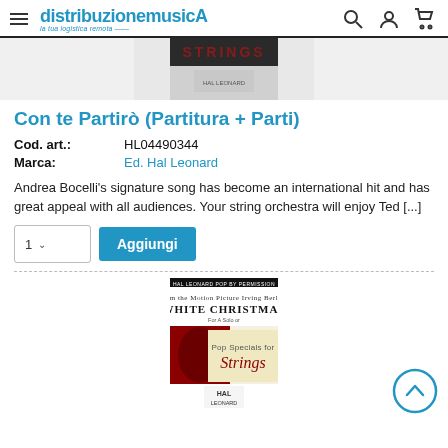distribuzionemusicA - la tua logistica remota
[Figure (photo): Partial view of a music sheet book cover showing 'STRINGS' text on dark background with a publisher logo]
Con te Partirò (Partitura + Parti)
| Cod. art.: | HL04490344 |
| Marca: | Ed. Hal Leonard |
Andrea Bocelli's signature song has become an international hit and has great appeal with all audiences. Your string orchestra will enjoy Ted [...]
1  v  Aggiungi
[Figure (photo): Music book cover for 'White Christmas' - Pop Specials for Strings, showing a violin and sheet music cover with Hal Leonard publisher logo]